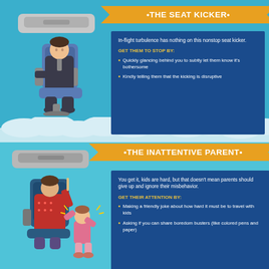•THE SEAT KICKER•
In-flight turbulence has nothing on this nonstop seat kicker.
GET THEM TO STOP BY:
Quickly glancing behind you to subtly let them know it's bothersome
Kindly telling them that the kicking is disruptive
[Figure (illustration): Person sitting in airplane seat viewed from behind, wearing dark clothing]
•THE INATTENTIVE PARENT•
You get it, kids are hard, but that doesn't mean parents should give up and ignore their misbehavior.
GET THEIR ATTENTION BY:
Making a friendly joke about how hard it must be to travel with kids
Asking if you can share boredom busters (like colored pens and paper)
[Figure (illustration): Parent sitting in airplane seat with excited child standing nearby with arms raised]